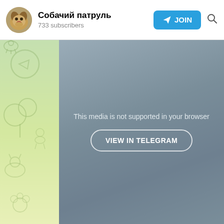Собачий патруль
733 subscribers
[Figure (screenshot): Telegram channel page showing 'Собачий патруль' with 733 subscribers, a JOIN button, a green/yellow illustrated sidebar, and a gray media area with 'This media is not supported in your browser' message and 'VIEW IN TELEGRAM' button.]
This media is not supported in your browser
VIEW IN TELEGRAM